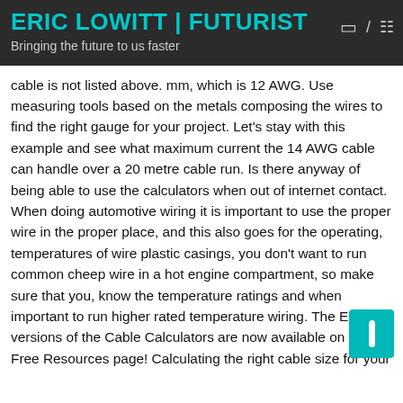ERIC LOWITT | FUTURIST
Bringing the future to us faster
cable is not listed above. mm, which is 12 AWG. Use measuring tools based on the metals composing the wires to find the right gauge for your project. Let's stay with this example and see what maximum current the 14 AWG cable can handle over a 20 metre cable run. Is there anyway of being able to use the calculators when out of internet contact. When doing automotive wiring it is important to use the proper wire in the proper place, and this also goes for the operating, temperatures of wire plastic casings, you don't want to run common cheep wire in a hot engine compartment, so make sure that you, know the temperature ratings and when important to run higher rated temperature wiring. The Excel versions of the Cable Calculators are now available on our Free Resources page! Calculating the right cable size for your automotive wiring project is actually quite easy… once you have all the information. Once you find the right one, the number s ed by the hole on the … Yes the breaker will trip eventually, b until the wire has heated up and started melting.That's another reason why it is critical to use proper designer circuits. Of …